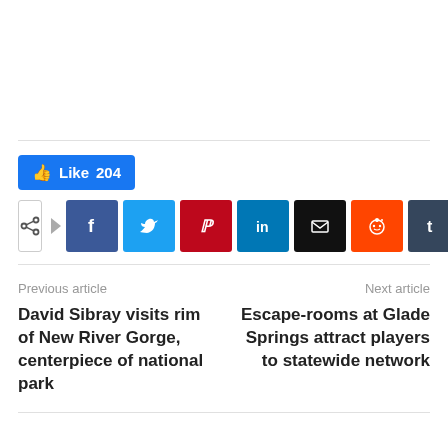[Figure (screenshot): Facebook Like button showing 204 likes, followed by a row of social share buttons: share (plain), Facebook, Twitter, Pinterest, LinkedIn, Email, Reddit, Tumblr]
Previous article
Next article
David Sibray visits rim of New River Gorge, centerpiece of national park
Escape-rooms at Glade Springs attract players to statewide network